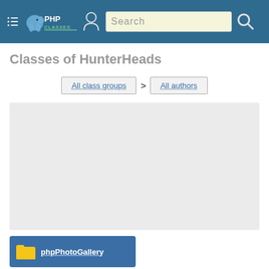PHPClasses - Search
Classes of HunterHeads
All class groups > All authors
[Figure (other): Advertisement placeholder box (light gray)]
phpPhotoGallery